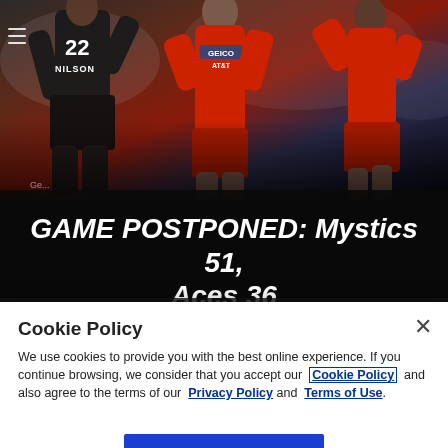[Figure (photo): WNBA basketball game action photo showing players in game; player wearing number 22 with 'WILSON' name, player in red uniform with GEICO/AT&T sponsorship logos, and player in red Washington Mystics uniform]
GAME POSTPONED: Mystics 51, Aces 36
[Figure (screenshot): Thumbnail for Game Recap video showing WNBA game action with 'Game Recap' label]
[Figure (screenshot): Thumbnail for Highlights video showing WNBA arena with 'Highlights' label]
Cookie Policy
We use cookies to provide you with the best online experience. If you continue browsing, we consider that you accept our Cookie Policy and also agree to the terms of our Privacy Policy and Terms of Use.